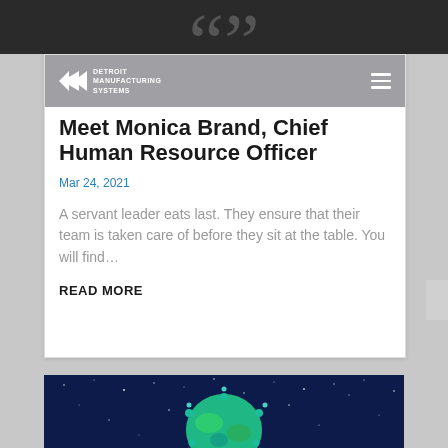[Figure (screenshot): Dark banner at top with large quotation mark characters visible]
Detroit Manufacturing Systems logo and navigation hamburger menu
Meet Monica Brand, Chief Human Resource Officer
Mar 24, 2021
A servant leader eats last. They ensure that their team is taken care of before they sit at the table. You will find…
READ MORE
[Figure (illustration): Illustration of a virus/COVID sphere overlaid on a globe of the Earth, set against a dark blue starry space background. The globe and virus are rendered in teal and green tones.]